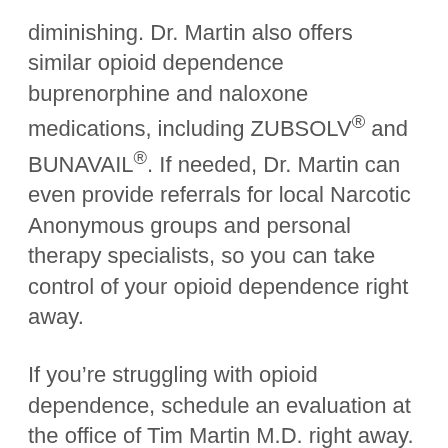diminishing. Dr. Martin also offers similar opioid dependence buprenorphine and naloxone medications, including ZUBSOLV® and BUNAVAIL®. If needed, Dr. Martin can even provide referrals for local Narcotic Anonymous groups and personal therapy specialists, so you can take control of your opioid dependence right away.
If you're struggling with opioid dependence, schedule an evaluation at the office of Tim Martin M.D. right away. Book online or over the phone.